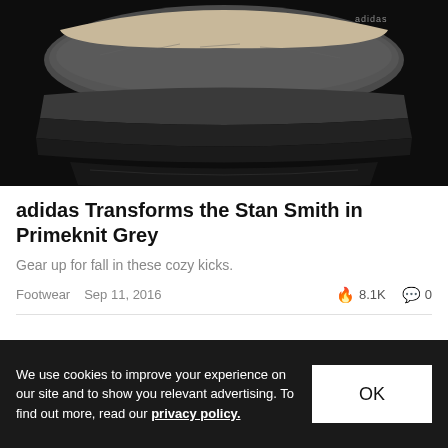[Figure (photo): Close-up photo of an Adidas Stan Smith Primeknit Grey sneaker on a black background, showing the side and sole of the shoe.]
adidas Transforms the Stan Smith in Primeknit Grey
Gear up for fall in these cozy kicks.
Footwear  Sep 11, 2016  🔥 8.1K  💬 0
We use cookies to improve your experience on our site and to show you relevant advertising. To find out more, read our privacy policy.